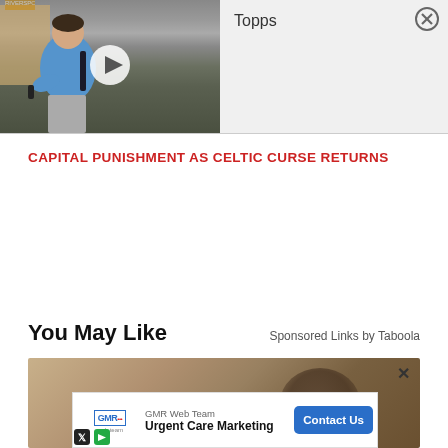[Figure (screenshot): Embedded video player thumbnail showing a man in a blue polo shirt on a street, with a play button overlay. To the right shows 'Topps' label and a close (X) button on a light grey background.]
CAPITAL PUNISHMENT AS CELTIC CURSE RETURNS
You May Like
Sponsored Links by Taboola
[Figure (photo): Partial image of a recommended article showing a sandy/rocky textured background, with a close X button. Below it an advertisement banner for GMR Web Team: Urgent Care Marketing with a Contact Us button.]